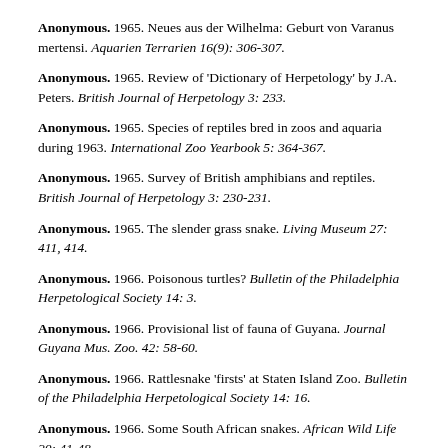Anonymous. 1965. Neues aus der Wilhelma: Geburt von Varanus mertensi. Aquarien Terrarien 16(9): 306-307.
Anonymous. 1965. Review of 'Dictionary of Herpetology' by J.A. Peters. British Journal of Herpetology 3: 233.
Anonymous. 1965. Species of reptiles bred in zoos and aquaria during 1963. International Zoo Yearbook 5: 364-367.
Anonymous. 1965. Survey of British amphibians and reptiles. British Journal of Herpetology 3: 230-231.
Anonymous. 1965. The slender grass snake. Living Museum 27: 411, 414.
Anonymous. 1966. Poisonous turtles? Bulletin of the Philadelphia Herpetological Society 14: 3.
Anonymous. 1966. Provisional list of fauna of Guyana. Journal Guyana Mus. Zoo. 42: 58-60.
Anonymous. 1966. Rattlesnake 'firsts' at Staten Island Zoo. Bulletin of the Philadelphia Herpetological Society 14: 16.
Anonymous. 1966. Some South African snakes. African Wild Life 20: 41-48.